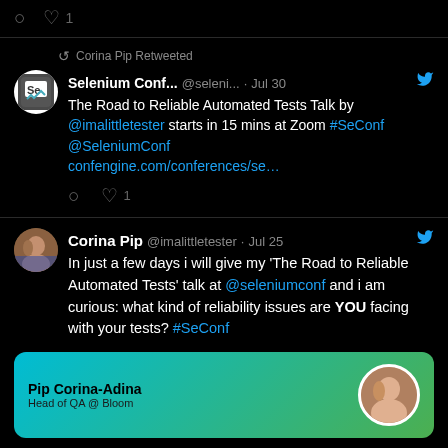[Figure (screenshot): Top partial tweet section showing a 'BOOK TICKETS' banner image and like count of 1]
Corina Pip Retweeted
Selenium Conf... @seleni... · Jul 30
The Road to Reliable Automated Tests Talk by @imalittletester starts in 15 mins at Zoom #SeConf @SeleniumConf confengine.com/conferences/se…
♡ 1
Corina Pip @imalittletester · Jul 25
In just a few days i will give my 'The Road to Reliable Automated Tests' talk at @seleniumconf and i am curious: what kind of reliability issues are YOU facing with your tests? #SeConf
[Figure (screenshot): Bottom card showing 'Pip Corina-Adina Head of QA @ Bloom' with teal/green gradient background and profile photo]